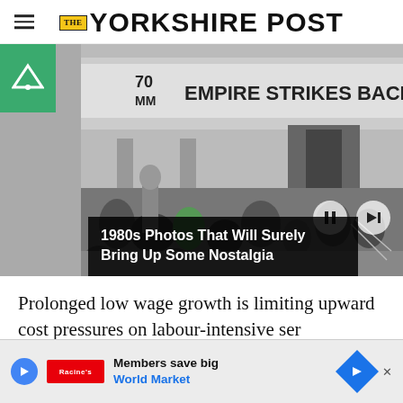THE YORKSHIRE POST
[Figure (photo): Black and white photo of people queuing outside a cinema showing '70MM Empire Strikes Back']
1980s Photos That Will Surely Bring Up Some Nostalgia
Prolonged low wage growth is limiting upward cost pressures on labour-intensive services recov...
Members save big World Market